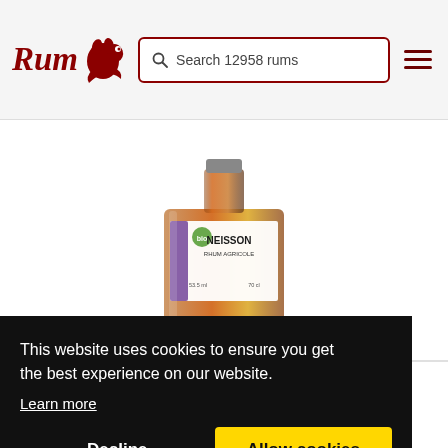Rum — Search 12958 rums
[Figure (photo): Bottle of Neisson Profil 105 bio rum with amber liquid and purple/green label]
RX1157
Profil 105 bio
This website uses cookies to ensure you get the best experience on our website. Learn more
Decline    Allow cookies
82 /100   33 ratings